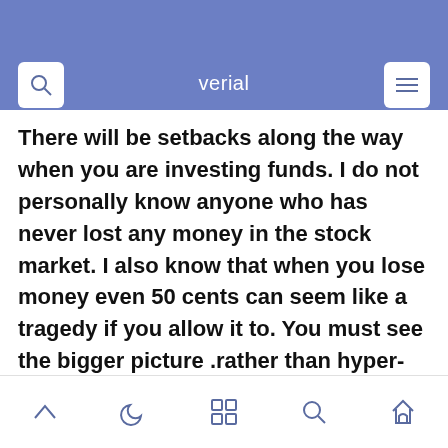verial
There will be setbacks along the way when you are investing funds. I do not personally know anyone who has never lost any money in the stock market. I also know that when you lose money even 50 cents can seem like a tragedy if you allow it to. You must see the bigger picture .rather than hyper-focusing on one good or bad decision